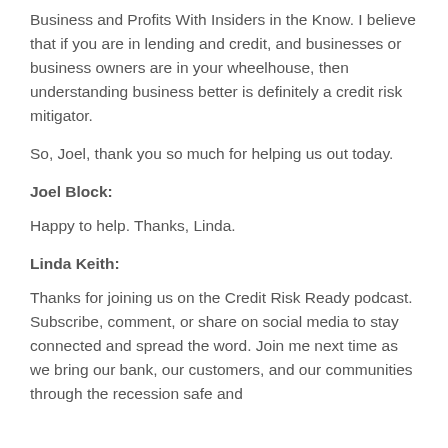Business and Profits With Insiders in the Know. I believe that if you are in lending and credit, and businesses or business owners are in your wheelhouse, then understanding business better is definitely a credit risk mitigator.
So, Joel, thank you so much for helping us out today.
Joel Block:
Happy to help. Thanks, Linda.
Linda Keith:
Thanks for joining us on the Credit Risk Ready podcast. Subscribe, comment, or share on social media to stay connected and spread the word. Join me next time as we bring our bank, our customers, and our communities through the recession safe and